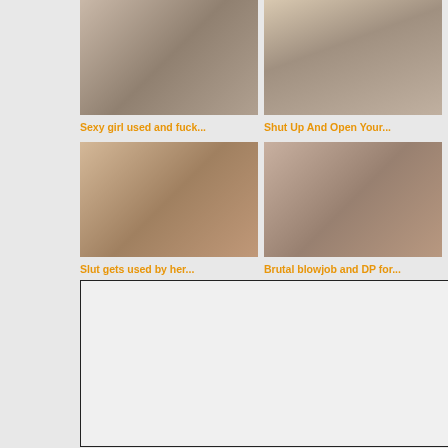[Figure (photo): Thumbnail image of a woman indoors]
Sexy girl used and fuck...
[Figure (photo): Thumbnail image showing a person from behind]
Shut Up And Open Your...
[Figure (photo): Thumbnail image showing a facial scene]
Slut gets used by her...
[Figure (photo): Thumbnail image showing a sex act]
Brutal blowjob and DP for...
[Figure (other): Advertisement box, blank white rectangle with black border]